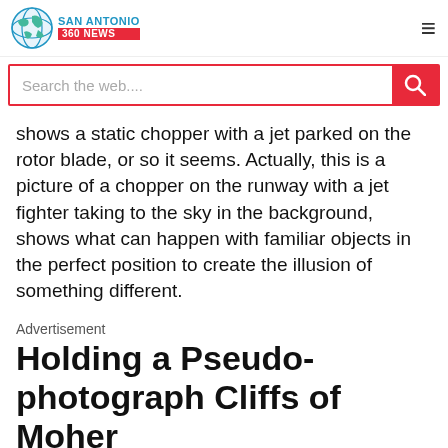SAN ANTONIO 360 NEWS
Search the web....
shows a static chopper with a jet parked on the rotor blade, or so it seems. Actually, this is a picture of a chopper on the runway with a jet fighter taking to the sky in the background, shows what can happen with familiar objects in the perfect position to create the illusion of something different.
Advertisement
Holding a Pseudo-photograph Cliffs of Moher
[Figure (photo): Photograph showing the Cliffs of Moher, with rocky cliff faces visible against a pale sky background.]